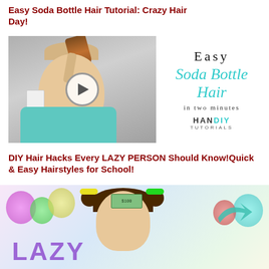Easy Soda Bottle Hair Tutorial: Crazy Hair Day!
[Figure (screenshot): Video thumbnail showing a young blonde girl with a soda bottle attached to her hair in a ponytail style, with a cup near her ear. Right side shows the text 'Easy Soda Bottle Hair in two minutes' by HanDIY Tutorials with a play button overlay.]
DIY Hair Hacks Every LAZY PERSON Should Know!Quick & Easy Hairstyles for School!
[Figure (screenshot): Video thumbnail showing a girl with dark hair in two ponytails with colorful hair bands, holding dollar bills, with colorful background and the word LAZY visible at the bottom.]